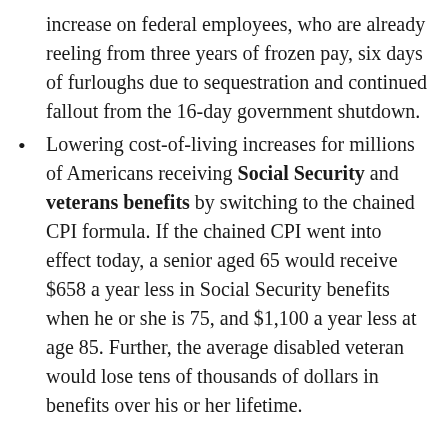increase on federal employees, who are already reeling from three years of frozen pay, six days of furloughs due to sequestration and continued fallout from the 16-day government shutdown.
Lowering cost-of-living increases for millions of Americans receiving Social Security and veterans benefits by switching to the chained CPI formula. If the chained CPI went into effect today, a senior aged 65 would receive $658 a year less in Social Security benefits when he or she is 75, and $1,100 a year less at age 85. Further, the average disabled veteran would lose tens of thousands of dollars in benefits over his or her lifetime.